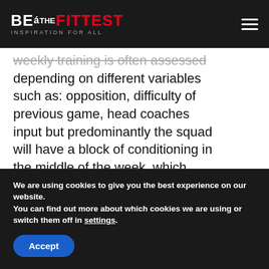BE THE FITTEST — INSPIRATION FOR ALL
weekly training is often assessed depending on different variables such as: opposition, difficulty of previous game, head coaches input but predominantly the squad will have a block of conditioning in the middle of the week, which allows them enough recovery time from the previous game and
We are using cookies to give you the best experience on our website.
You can find out more about which cookies we are using or switch them off in settings.
Accept